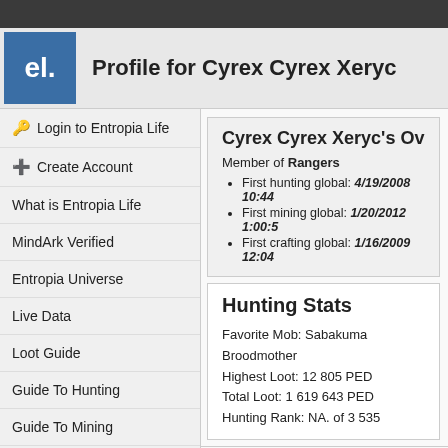Profile for Cyrex Cyrex Xeryc
Login to Entropia Life
Create Account
What is Entropia Life
MindArk Verified
Entropia Universe
Live Data
Loot Guide
Guide To Hunting
Guide To Mining
Guide To Crafting
Cyrex Cyrex Xeryc's Ov
Member of Rangers
First hunting global: 4/19/2008 10:44
First mining global: 1/20/2012 1:00:5
First crafting global: 1/16/2009 12:04
Hunting Stats
Favorite Mob: Sabakuma Broodmother
Highest Loot: 12 805 PED
Total Loot: 1 619 643 PED
Hunting Rank: NA. of 3 535
Cyrex Cyrex Xeryc's Friends inside
Vie